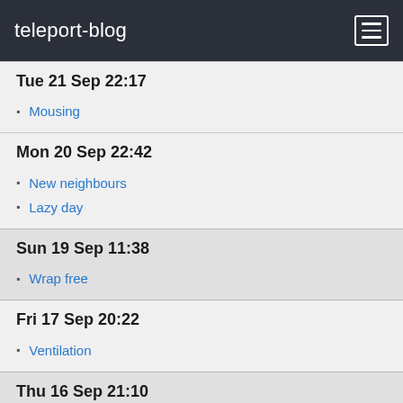teleport-blog
Tue 21 Sep 22:17
Mousing
Mon 20 Sep 22:42
New neighbours
Lazy day
Sun 19 Sep 11:38
Wrap free
Fri 17 Sep 20:22
Ventilation
Thu 16 Sep 21:10
Day off!
Wed 15 Sep 20:21
The pipes- water not bag
Water tanks
Tue 14 Sep 11:20
What a treasure!